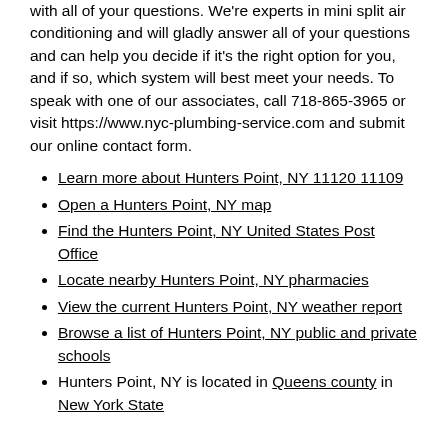with all of your questions. We're experts in mini split air conditioning and will gladly answer all of your questions and can help you decide if it's the right option for you, and if so, which system will best meet your needs. To speak with one of our associates, call 718-865-3965 or visit https://www.nyc-plumbing-service.com and submit our online contact form.
Learn more about Hunters Point, NY 11120 11109
Open a Hunters Point, NY map
Find the Hunters Point, NY United States Post Office
Locate nearby Hunters Point, NY pharmacies
View the current Hunters Point, NY weather report
Browse a list of Hunters Point, NY public and private schools
Hunters Point, NY is located in Queens county in New York State